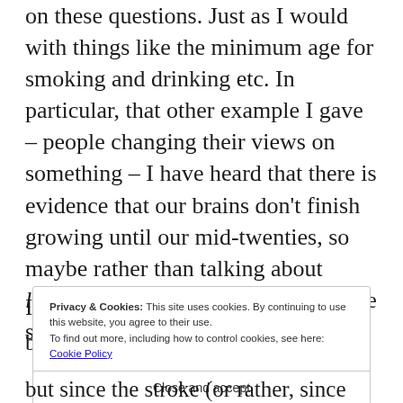on these questions. Just as I would with things like the minimum age for smoking and drinking etc. In particular, that other example I gave – people changing their views on something – I have heard that there is evidence that our brains don't finish growing until our mid-twenties, so maybe rather than talking about lowering the age to do something, we should be talking about raising it?
Privacy & Cookies: This site uses cookies. By continuing to use this website, you agree to their use. To find out more, including how to control cookies, see here: Cookie Policy
Close and accept
but since the stroke (or rather, since the diabetes